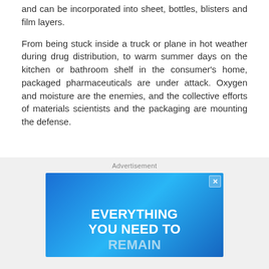and can be incorporated into sheet, bottles, blisters and film layers.
From being stuck inside a truck or plane in hot weather during drug distribution, to warm summer days on the kitchen or bathroom shelf in the consumer's home, packaged pharmaceuticals are under attack. Oxygen and moisture are the enemies, and the collective efforts of materials scientists and the packaging are mounting the defense.
[Figure (other): Advertisement banner with blue gradient background showing bold white text: EVERYTHING YOU NEED TO REMAIN]